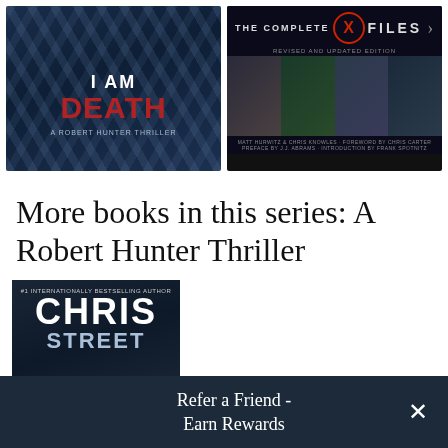[Figure (photo): Book cover: 'I Am Death - A Robert Hunter Thriller' with dark blue chains background and red title text]
[Figure (photo): Book cover: 'The Complete X Files - Revised and Updated Edition' with character photos and red X logo]
More books in this series: A Robert Hunter Thriller
[Figure (photo): Book cover by Chris Carter, #1 Internationally Bestselling Author, dark background with author name in large white letters]
Refer a Friend - Earn Rewards